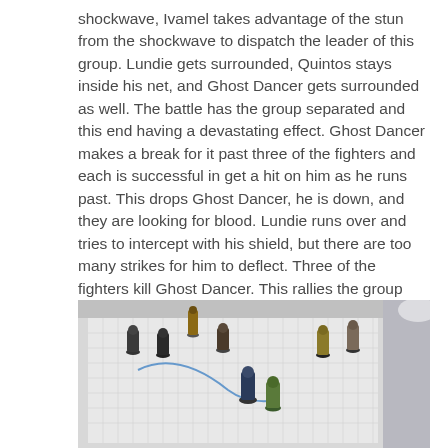shockwave, Ivamel takes advantage of the stun from the shockwave to dispatch the leader of this group.  Lundie gets surrounded, Quintos stays inside his net, and Ghost Dancer gets surrounded as well. The battle has the group separated and this end having a devastating effect. Ghost Dancer makes a break for it past three of the fighters and each is successful in get a hit on him as he runs past.  This drops Ghost Dancer, he is down, and they are looking for blood. Lundie runs over and tries to intercept with his shield, but there are too many strikes for him to deflect. Three of the fighters kill Ghost Dancer. This rallies the group and they dispatch remaining fighters. Ivamel taking down three in one round.
[Figure (photo): A tabletop RPG battle scene with painted miniature figures arranged on a gridded battle map. Multiple figurines representing various fantasy characters are positioned across the white grid surface.]